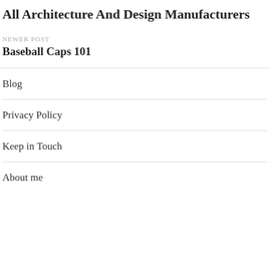All Architecture And Design Manufacturers
NEWER POST
Baseball Caps 101
Blog
Privacy Policy
Keep in Touch
About me